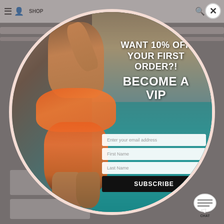SHOP
[Figure (photo): E-commerce website popup modal with circular design. A woman in an orange bikini stands against a rocky coastal background with blue-green water. The right side of the circle contains promotional text and an email signup form.]
WANT 10% OFF YOUR FIRST ORDER?!
BECOME A VIP
Enter your email address
First Name
Last Name
SUBSCRIBE
[Figure (illustration): Chat bubble icon with the word CHAT]